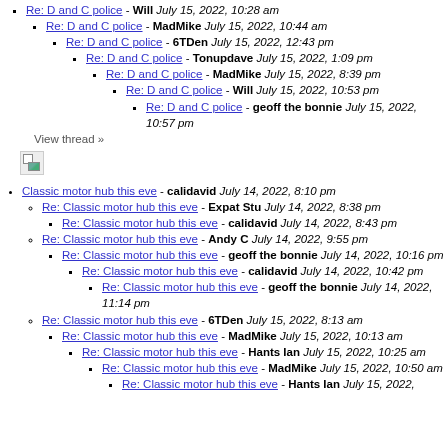Re: D and C police - Will July 15, 2022, 10:28 am
Re: D and C police - MadMike July 15, 2022, 10:44 am
Re: D and C police - 6TDen July 15, 2022, 12:43 pm
Re: D and C police - Tonupdave July 15, 2022, 1:09 pm
Re: D and C police - MadMike July 15, 2022, 8:39 pm
Re: D and C police - Will July 15, 2022, 10:53 pm
Re: D and C police - geoff the bonnie July 15, 2022, 10:57 pm
View thread »
[Figure (other): Broken image icon]
Classic motor hub this eve - calidavid July 14, 2022, 8:10 pm
Re: Classic motor hub this eve - Expat Stu July 14, 2022, 8:38 pm
Re: Classic motor hub this eve - calidavid July 14, 2022, 8:43 pm
Re: Classic motor hub this eve - Andy C July 14, 2022, 9:55 pm
Re: Classic motor hub this eve - geoff the bonnie July 14, 2022, 10:16 pm
Re: Classic motor hub this eve - calidavid July 14, 2022, 10:42 pm
Re: Classic motor hub this eve - geoff the bonnie July 14, 2022, 11:14 pm
Re: Classic motor hub this eve - 6TDen July 15, 2022, 8:13 am
Re: Classic motor hub this eve - MadMike July 15, 2022, 10:13 am
Re: Classic motor hub this eve - Hants Ian July 15, 2022, 10:25 am
Re: Classic motor hub this eve - MadMike July 15, 2022, 10:50 am
Re: Classic motor hub this eve - Hants Ian July 15, 2022,